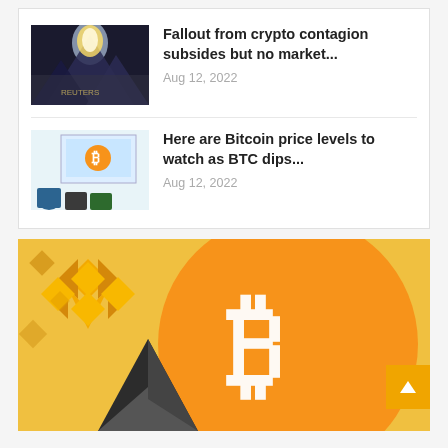[Figure (screenshot): News listing card showing two cryptocurrency news articles with thumbnails, titles, and dates]
Fallout from crypto contagion subsides but no market...
Aug 12, 2022
Here are Bitcoin price levels to watch as BTC dips...
Aug 12, 2022
[Figure (illustration): Crypto illustration showing Binance logo, Bitcoin (BTC) orange coin logo, and Ethereum dark pyramid on yellow background]